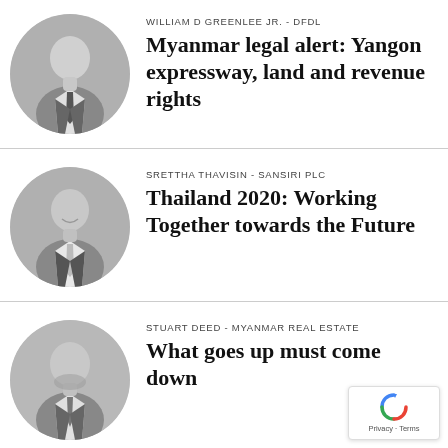[Figure (photo): Black and white circular headshot of William D Greenlee Jr., a middle-aged man in a suit and tie]
WILLIAM D GREENLEE JR. - DFDL
Myanmar legal alert: Yangon expressway, land and revenue rights
[Figure (photo): Black and white circular headshot of Srettha Thavisin, an Asian man smiling in a suit and tie]
SRETTHA THAVISIN - SANSIRI PLC
Thailand 2020: Working Together towards the Future
[Figure (photo): Black and white circular headshot of Stuart Deed, a man with a beard in a suit]
STUART DEED - MYANMAR REAL ESTATE
What goes up must come down